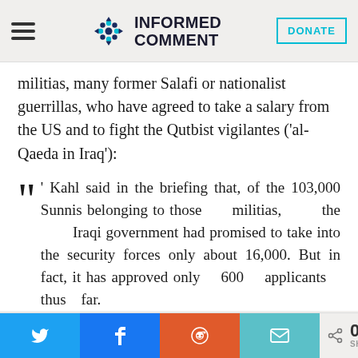Informed Comment
militias, many former Salafi or nationalist guerrillas, who have agreed to take a salary from the US and to fight the Qutbist vigilantes ('al-Qaeda in Iraq'):
' Kahl said in the briefing that, of the 103,000 Sunnis belonging to those militias, the Iraqi government had promised to take into the security forces only about 16,000. But in fact, it has approved only 600 applicants thus far.
0 SHARES